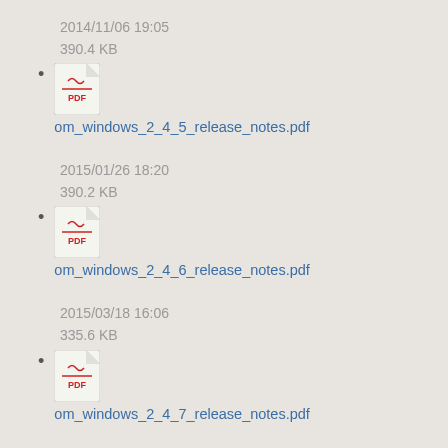2014/11/06 19:05
390.4 KB
om_windows_2_4_5_release_notes.pdf
2015/01/26 18:20
390.2 KB
om_windows_2_4_6_release_notes.pdf
2015/03/18 16:06
335.6 KB
om_windows_2_4_7_release_notes.pdf
2015/03/23 18:28
389.9 KB